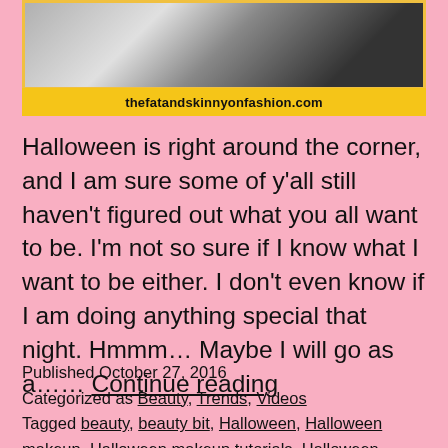[Figure (photo): Header image showing a person, partially cropped, with a yellow banner below reading thefatandskinnyonfashion.com]
Halloween is right around the corner, and I am sure some of y'all still haven't figured out what you all want to be. I'm not so sure if I know what I want to be either. I don't even know if I am doing anything special that night. Hmmm… Maybe I will go as a…… Continue reading
Published October 27, 2016
Categorized as Beauty, Trends, Videos
Tagged beauty, beauty bit, Halloween, Halloween makeup, Halloween makeup tutorials, Halloween Makeup Tutorials